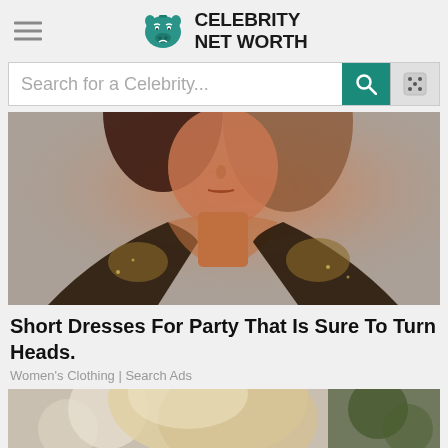Celebrity Net Worth
Search for a Celebrity...
[Figure (photo): Woman wearing a sparkly sequined dress with deep V-neckline, warm orange lighting against a grey textured background, shown from shoulders up]
Short Dresses For Party That Is Sure To Turn Heads.
Women's Clothing | Search Ads
[Figure (photo): Partial view of a person with blonde hair, blurred/cropped at the bottom of the page]